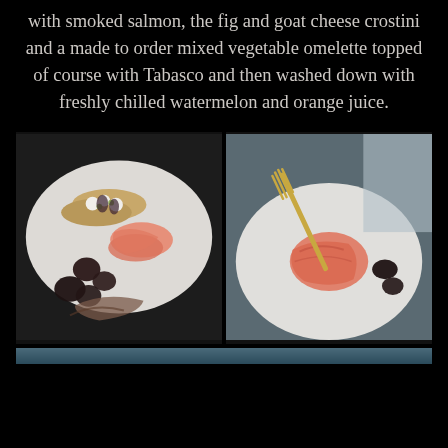with smoked salmon, the fig and goat cheese crostini and a made to order mixed vegetable omelette topped of course with Tabasco and then washed down with freshly chilled watermelon and orange juice.
[Figure (photo): White plate with fig and goat cheese crostini, smoked salmon slices, dried figs, and cured meat on a dark background]
[Figure (photo): Close-up of smoked salmon on a white plate with a gold fork and dried figs beside it]